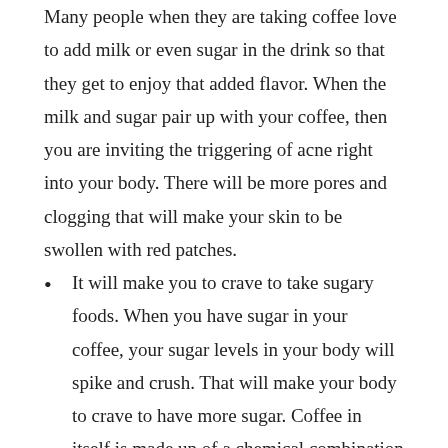Many people when they are taking coffee love to add milk or even sugar in the drink so that they get to enjoy that added flavor. When the milk and sugar pair up with your coffee, then you are inviting the triggering of acne right into your body. There will be more pores and clogging that will make your skin to be swollen with red patches.
It will make you to crave to take sugary foods. When you have sugar in your coffee, your sugar levels in your body will spike and crush. That will make your body to crave to have more sugar. Coffee in itself is made up of a chemical combination that when gets